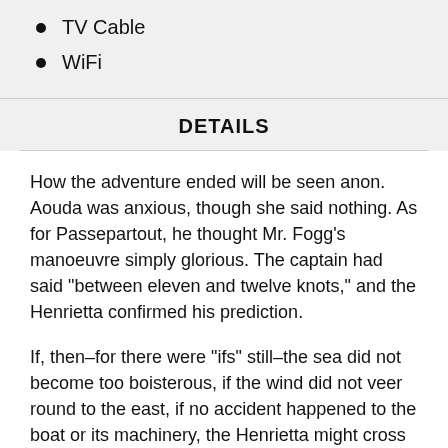TV Cable
WiFi
DETAILS
How the adventure ended will be seen anon. Aouda was anxious, though she said nothing. As for Passepartout, he thought Mr. Fogg’s manoeuvre simply glorious. The captain had said “between eleven and twelve knots,” and the Henrietta confirmed his prediction.
If, then–for there were “ifs” still–the sea did not become too boisterous, if the wind did not veer round to the east, if no accident happened to the boat or its machinery, the Henrietta might cross the three thousand miles from New York to Liverpool in the nine days,